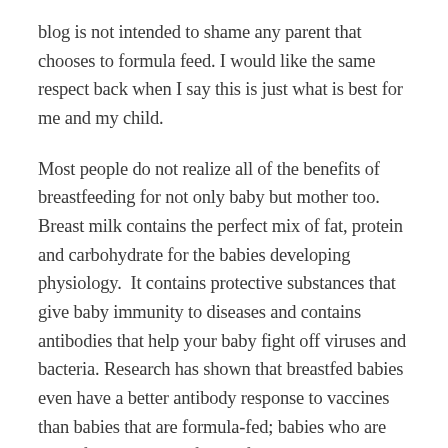blog is not intended to shame any parent that chooses to formula feed. I would like the same respect back when I say this is just what is best for me and my child.
Most people do not realize all of the benefits of breastfeeding for not only baby but mother too. Breast milk contains the perfect mix of fat, protein and carbohydrate for the babies developing physiology. It contains protective substances that give baby immunity to diseases and contains antibodies that help your baby fight off viruses and bacteria. Research has shown that breastfed babies even have a better antibody response to vaccines than babies that are formula-fed; babies who are breastfed exclusively for the first 6 months, without any formula, have fewer ear infections, respiratory illnesses and have 8.6 times lower risk of diarrheal illness. Breastfeeding lowers